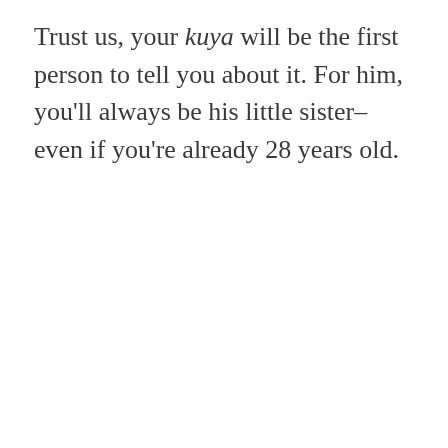Trust us, your kuya will be the first person to tell you about it. For him, you'll always be his little sister–even if you're already 28 years old.